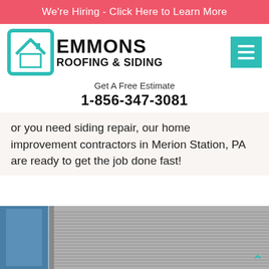We're Hiring - Click Here to Learn More
[Figure (logo): Emmons Roofing & Siding logo with teal house icon and bold black text]
Get A Free Estimate
1-856-347-3081
or you need siding repair, our home improvement contractors in Merion Station, PA are ready to get the job done fast!
[Figure (photo): Photo of building siding - metal horizontal panels with windows visible]